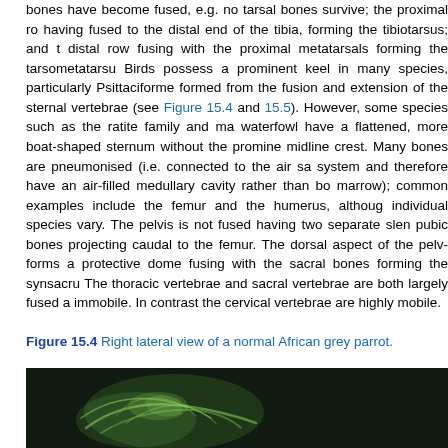bones have become fused, e.g. no tarsal bones survive; the proximal row having fused to the distal end of the tibia, forming the tibiotarsus; and the distal row fusing with the proximal metatarsals forming the tarsometatarsus. Birds possess a prominent keel in many species, particularly Psittaciformes, formed from the fusion and extension of the sternal vertebrae (see Figure 15.4 and 15.5). However, some species such as the ratite family and many waterfowl have a flattened, more boat-shaped sternum without the prominent midline crest. Many bones are pneumonised (i.e. connected to the air sac system and therefore have an air-filled medullary cavity rather than bone marrow); common examples include the femur and the humerus, although individual species vary. The pelvis is not fused having two separate slender pubic bones projecting caudal to the femur. The dorsal aspect of the pelvis forms a protective dome fusing with the sacral bones forming the synsacrum. The thoracic vertebrae and sacral vertebrae are both largely fused and immobile. In contrast the cervical vertebrae are highly mobile.
Figure 15.4 Right lateral view of a normal African grey parrot.
[Figure (photo): Right lateral radiograph/X-ray image of a normal African grey parrot, showing a dark background with greenish illuminated skeletal structures.]